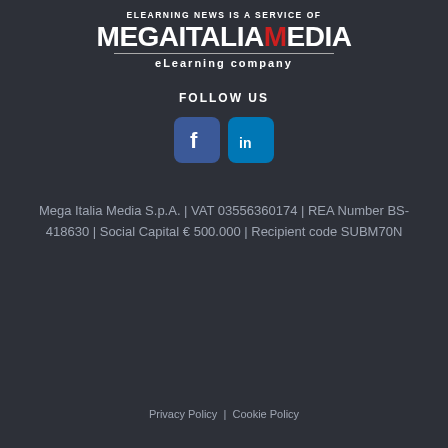ELEARNING NEWS IS A SERVICE OF
[Figure (logo): MegaItalia Media logo with bold white text and red M, followed by 'eLearning company' subtitle]
FOLLOW US
[Figure (illustration): Facebook and LinkedIn social media icon buttons]
Mega Italia Media S.p.A. | VAT 03556360174 | REA Number BS-418630 | Social Capital € 500.000 | Recipient code SUBM70N
Privacy Policy | Cookie Policy